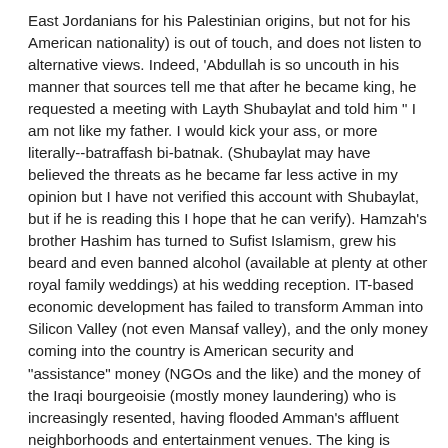East Jordanians for his Palestinian origins, but not for his American nationality) is out of touch, and does not listen to alternative views. Indeed, 'Abdullah is so uncouth in his manner that sources tell me that after he became king, he requested a meeting with Layth Shubaylat and told him " I am not like my father. I would kick your ass, or more literally--batraffash bi-batnak. (Shubaylat may have believed the threats as he became far less active in my opinion but I have not verified this account with Shubaylat, but if he is reading this I hope that he can verify). Hamzah's brother Hashim has turned to Sufist Islamism, grew his beard and even banned alcohol (available at plenty at other royal family weddings) at his wedding reception. IT-based economic development has failed to transform Amman into Silicon Valley (not even Mansaf valley), and the only money coming into the country is American security and "assistance" money (NGOs and the like) and the money of the Iraqi bourgeoisie (mostly money laundering) who is increasingly resented, having flooded Amman's affluent neighborhoods and entertainment venues. The king is hoping to substitute his failed IT development policy make with a new "security" role for the country, rendering it the only business for the kingdom, and its only